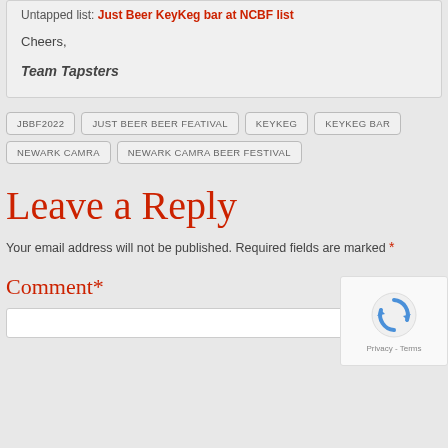Untapped list: Just Beer KeyKeg bar at NCBF list
Cheers,
Team Tapsters
JBBF2022
JUST BEER BEER FEATIVAL
KEYKEG
KEYKEG BAR
NEWARK CAMRA
NEWARK CAMRA BEER FESTIVAL
Leave a Reply
Your email address will not be published. Required fields are marked *
Comment*
[Figure (other): reCAPTCHA widget with rotating arrows icon and Privacy - Terms text]